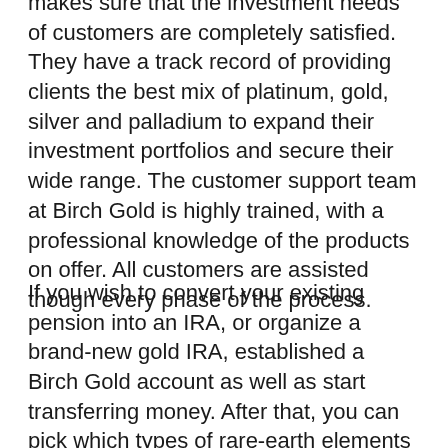makes sure that the investment needs of customers are completely satisfied. They have a track record of providing clients the best mix of platinum, gold, silver and palladium to expand their investment portfolios and secure their wide range. The customer support team at Birch Gold is highly trained, with a professional knowledge of the products on offer. All customers are assisted though every phase of the process.
If you wish to convert your existing pension into an IRA, or organize a brand-new gold IRA, established a Birch Gold account as well as start transferring money. After that, you can pick which types of rare-earth elements you want to purchase.